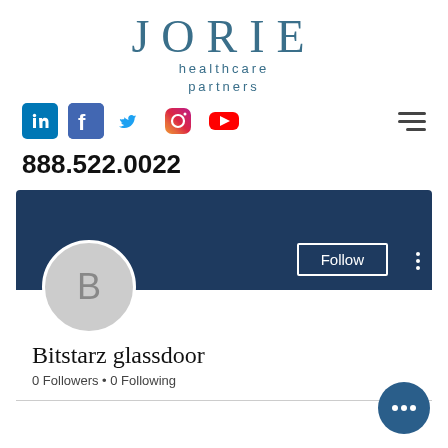[Figure (logo): Jorie Healthcare Partners logo — large spaced serif letters 'JORIE' above smaller sans-serif text 'healthcare partners']
[Figure (infographic): Social media icons row: LinkedIn, Facebook, Twitter, Instagram, YouTube, and a hamburger menu icon]
888.522.0022
[Figure (screenshot): Glassdoor-style profile card with dark navy banner, a circular avatar with letter B, a Follow button, and three vertical dots]
Bitstarz glassdoor
0 Followers • 0 Following